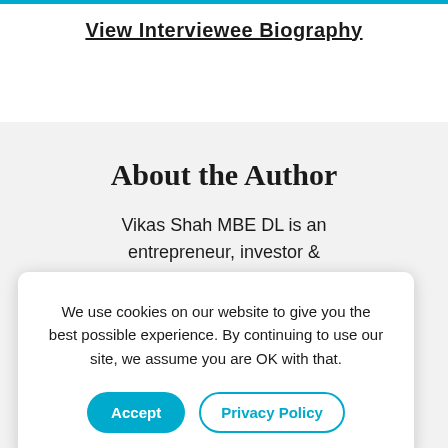View Interviewee Biography
About the Author
Vikas Shah MBE DL is an entrepreneur, investor & … of … n … n-
Executive Board Member
We use cookies on our website to give you the best possible experience. By continuing to use our site, we assume you are OK with that.